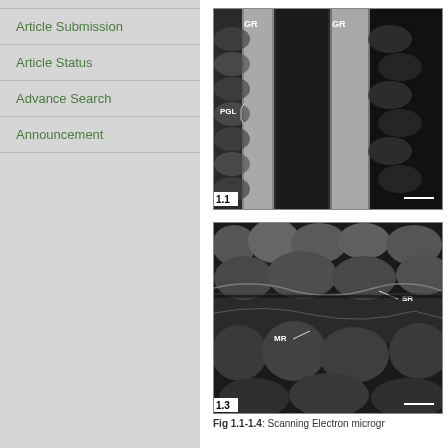Article Submission
Article Status
Advance Search
Announcement
[Figure (photo): Scanning electron micrograph 1.1 showing GR (groove) and PGL labels on what appears to be plant or biological tissue cross-section in black and white]
[Figure (photo): Scanning electron micrograph 1.3 showing MR and SR labels on biological tissue surface with textured, folded appearance in black and white]
Fig 1.1-1.4: Scanning Electron microgr